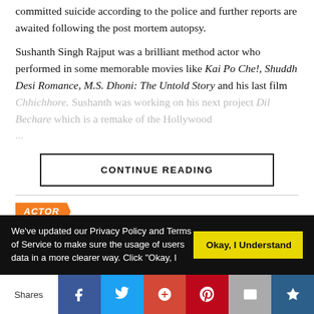committed suicide according to the police and further reports are awaited following the post mortem autopsy.
Sushanth Singh Rajput was a brilliant method actor who performed in some memorable movies like Kai Po Che!, Shuddh Desi Romance, M.S. Dhoni: The Untold Story and his last film Chhichhore. Sushanth was working on his next project Dil Bechare which is a remake of the Hollywood...
CONTINUE READING
ACTOR
We've updated our Privacy Policy and Terms of Service to make sure the usage of users data in a more clearer way. Click "Okay, I
Okay, I Understand
Shares